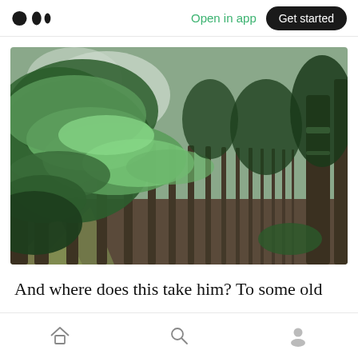Medium logo | Open in app | Get started
[Figure (photo): A forest of tall conifer/pine trees photographed from ground level. The left foreground shows bright green pine branches covered in needles, lit from behind. Behind them stretches a row of tall straight tree trunks receding into the distance. The forest floor has brown pine needles and a grassy path. The image has a shallow depth of field with bokeh blur on the right.]
And where does this take him? To some old
Home | Search | Profile